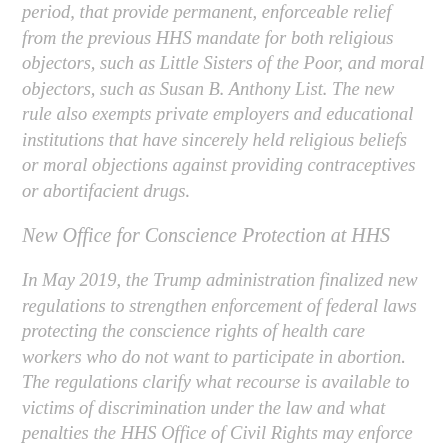period, that provide permanent, enforceable relief from the previous HHS mandate for both religious objectors, such as Little Sisters of the Poor, and moral objectors, such as Susan B. Anthony List. The new rule also exempts private employers and educational institutions that have sincerely held religious beliefs or moral objections against providing contraceptives or abortifacient drugs.
New Office for Conscience Protection at HHS
In May 2019, the Trump administration finalized new regulations to strengthen enforcement of federal laws protecting the conscience rights of health care workers who do not want to participate in abortion. The regulations clarify what recourse is available to victims of discrimination under the law and what penalties the HHS Office of Civil Rights may enforce for violations. Additionally, it created an HHS...